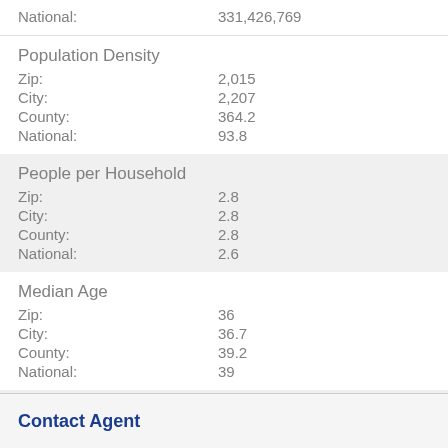|  |  |
| --- | --- |
| National: | 331,426,769 |
Population Density
|  |  |
| --- | --- |
| Zip: | 2,015 |
| City: | 2,207 |
| County: | 364.2 |
| National: | 93.8 |
People per Household
|  |  |
| --- | --- |
| Zip: | 2.8 |
| City: | 2.8 |
| County: | 2.8 |
| National: | 2.6 |
Median Age
|  |  |
| --- | --- |
| Zip: | 36 |
| City: | 36.7 |
| County: | 39.2 |
| National: | 39 |
Median Household Income
Contact Agent